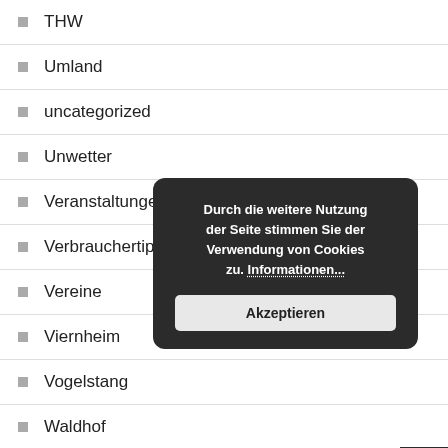THW
Umland
uncategorized
Unwetter
Veranstaltungen
Verbrauchertipps
Vereine
Viernheim
Vogelstang
Waldhof
Wallstadt
Durch die weitere Nutzung der Seite stimmen Sie der Verwendung von Cookies zu. Informationen... Akzeptieren